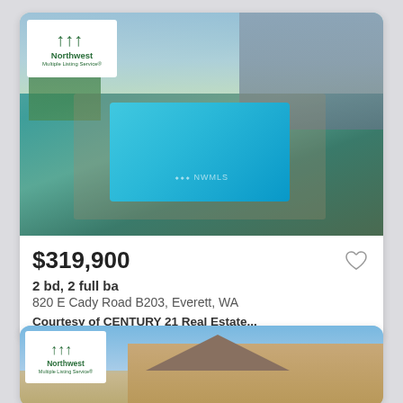[Figure (photo): Real estate listing card showing a condominium complex with an outdoor swimming pool, surrounded by chain-link fencing, lounge chairs, and trees. Northwest Multiple Listing Service logo in top-left corner of photo.]
$319,900
2 bd, 2 full ba
820 E Cady Road B203, Everett, WA
Courtesy of CENTURY 21 Real Estate...
[Figure (photo): Second real estate listing card showing a two-story house with a gabled roof under a blue sky. Northwest Multiple Listing Service logo visible in top-left corner.]